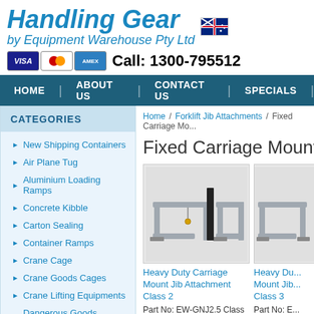Handling Gear by Equipment Warehouse Pty Ltd
Call: 1300-795512
HOME | ABOUT US | CONTACT US | SPECIALS
CATEGORIES
New Shipping Containers
Air Plane Tug
Aluminium Loading Ramps
Concrete Kibble
Carton Sealing
Container Ramps
Crane Cage
Crane Goods Cages
Crane Lifting Equipments
Dangerous Goods Storage
Home / Forklift Jib Attachments / Fixed Carriage Mo...
Fixed Carriage Mounted J...
[Figure (photo): Heavy Duty Carriage Mount Jib Attachment Class 2 - forklift jib attachment product photo]
Heavy Duty Carriage Mount Jib Attachment Class 2
Part No: EW-GNJ2.5 Class 2
Call for pricing
[Figure (photo): Heavy Duty Carriage Mount Jib Attachment Class 3 - forklift jib attachment product photo (partially visible)]
Heavy Du... Mount Jib... Class 3
Part No: E...
Call for pr...